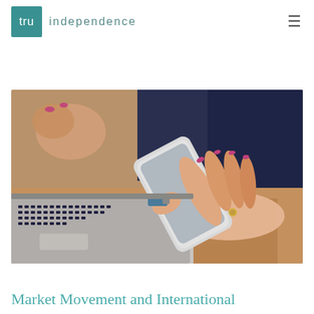tru independence
background increases that would otherwise slow or change the news cycles we consume currently and the thousands daily about
[Figure (photo): Woman holding a smartphone over a laptop keyboard on a wooden desk, shot from above/side angle. Another person's hands visible in background.]
Market Movement and International